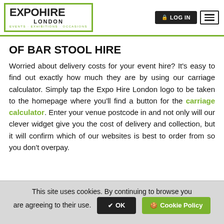EXPO HIRE LONDON — Events · Exhibitions · Occasions | LOG IN
OF BAR STOOL HIRE
Worried about delivery costs for your event hire? It's easy to find out exactly how much they are by using our carriage calculator. Simply tap the Expo Hire London logo to be taken to the homepage where you'll find a button for the carriage calculator. Enter your venue postcode in and not only will our clever widget give you the cost of delivery and collection, but it will confirm which of our websites is best to order from so you don't overpay.
This site uses cookies. By continuing to browse you are agreeing to their use. OK   Cookie Policy